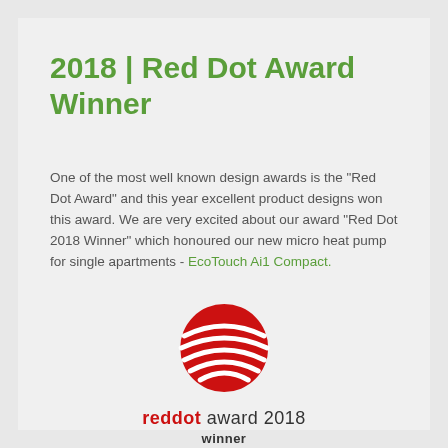2018 | Red Dot Award Winner
One of the most well known design awards is the "Red Dot Award" and this year excellent product designs won this award. We are very excited about our award "Red Dot 2018 Winner" which honoured our new micro heat pump for single apartments - EcoTouch Ai1 Compact.
[Figure (logo): Red Dot Award logo — a red sphere with white curved stripes, resembling a globe, with text 'reddot award 2018 winner' below]